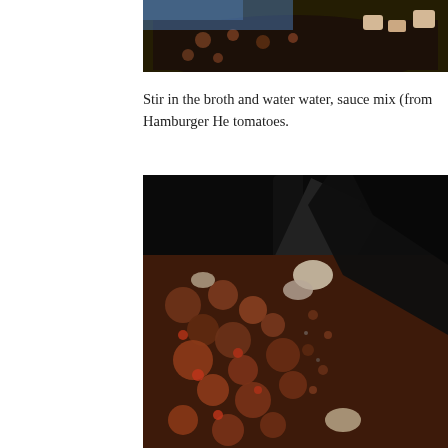[Figure (photo): Top portion of a food photo showing a dark skillet with cooked meat mixture and some light-colored ingredients, with a blue background element visible.]
Stir in the broth and water water, sauce mix (from Hamburger He tomatoes.
[Figure (photo): Close-up photo of cooked ground beef/meat being stirred in a dark skillet with a black spatula. The meat appears browned with visible onion pieces and red tomato bits mixed in, against a dark background.]